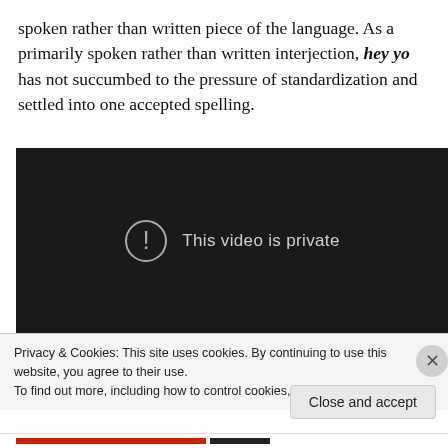spoken rather than written piece of the language. As a primarily spoken rather than written interjection, hey yo has not succumbed to the pressure of standardization and settled into one accepted spelling.
[Figure (screenshot): Embedded video player showing a dark/black background with a circle exclamation icon and text 'This video is private']
Privacy & Cookies: This site uses cookies. By continuing to use this website, you agree to their use.
To find out more, including how to control cookies, see here: Cookie Policy
Close and accept